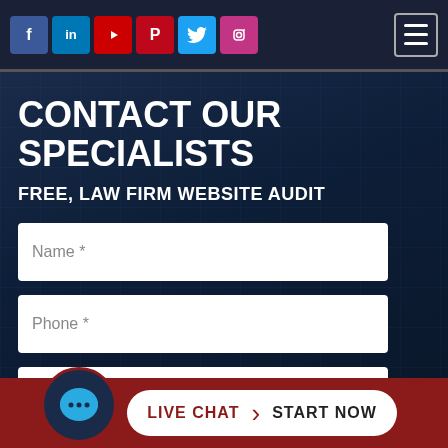Social media icons (Facebook, LinkedIn, YouTube, Pinterest, Twitter, Instagram) and hamburger menu
CONTACT OUR SPECIALISTS
FREE, LAW FIRM WEBSITE AUDIT
Name *
Phone *
Email *
Message
LIVE CHAT  START NOW